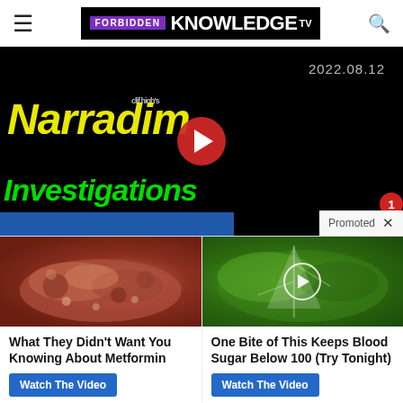FORBIDDEN KNOWLEDGE TV
[Figure (screenshot): Video thumbnail for Clif High's Narradiam Investigations dated 2022.08.12, black background with yellow and green stylized text, red play button in center, promoted overlay at bottom right]
[Figure (photo): Close-up image of biological/medical tissue (intestinal), promotional ad for Metformin video]
What They Didn't Want You Knowing About Metformin
Watch The Video
[Figure (photo): Close-up image of green plant/vegetable with white play circle overlay, promotional ad for blood sugar video]
One Bite of This Keeps Blood Sugar Below 100 (Try Tonight)
Watch The Video